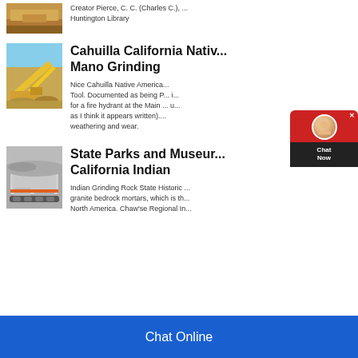Creator Pierce, C. C. (Charles C.), ... Huntington Library
[Figure (photo): Mining quarry with stone piles (partial, top cropped)]
Cahuilla California Native Mano Grinding
Nice Cahuilla Native American ... Tool. Documented as being P... i... for a fire hydrant at the Main ... u... as I think it appears written). ... weathering and wear.
[Figure (photo): Mining equipment with yellow conveyors against blue sky]
State Parks and Museum California Indian
Indian Grinding Rock State Historic ... granite bedrock mortars, which is th... North America. Chaw'se Regional In...
[Figure (photo): Large mobile mining crusher/screening machine on tracks]